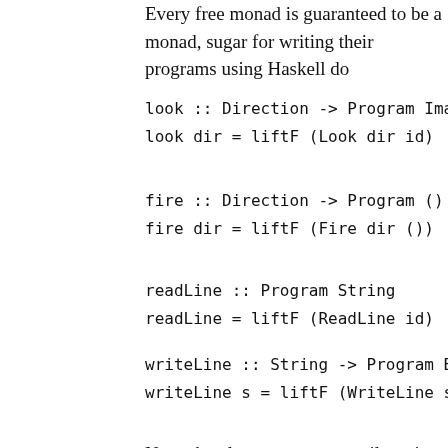Every free monad is guaranteed to be a monad, sugar for writing their programs using Haskell do
Now, the player can more easily write their prog